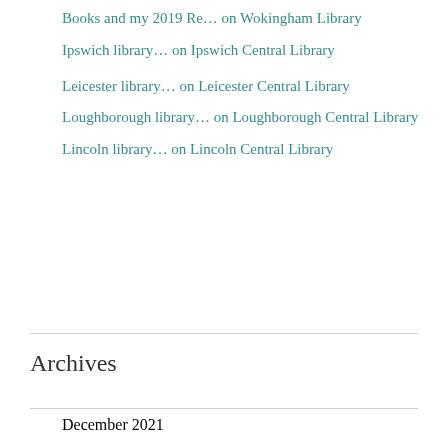Books and my 2019 Re… on Wokingham Library
Ipswich library… on Ipswich Central Library
Leicester library… on Leicester Central Library
Loughborough library… on Loughborough Central Library
Lincoln library… on Lincoln Central Library
Archives
December 2021